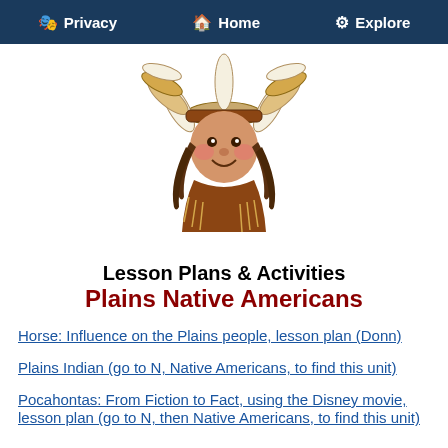Privacy  Home  Explore
[Figure (illustration): Cartoon illustration of a Native American chief wearing a traditional feathered headdress, smiling, with braided hair and fringed clothing]
Lesson Plans & Activities
Plains Native Americans
Horse: Influence on the Plains people, lesson plan (Donn)
Plains Indian (go to N, Native Americans, to find this unit)
Pocahontas: From Fiction to Fact, using the Disney movie, lesson plan (go to N, then Native Americans, to find this unit)